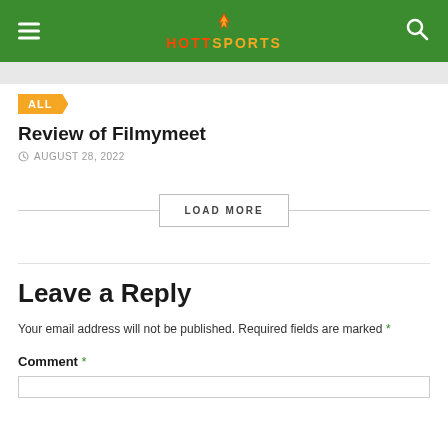HOTTSPORTS
ALL
Review of Filmymeet
AUGUST 28, 2022
LOAD MORE
Leave a Reply
Your email address will not be published. Required fields are marked *
Comment *